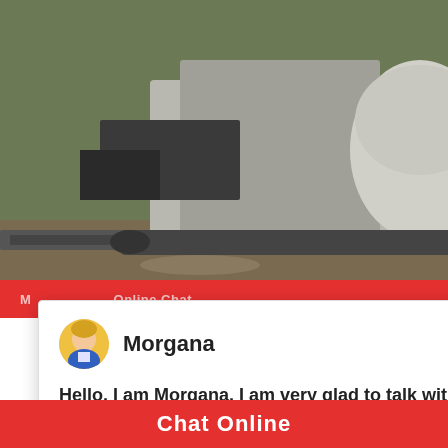[Figure (photo): Industrial crushing/mining machine outdoors with trees in background]
[Figure (screenshot): Live chat popup with avatar of Morgana agent and greeting message]
2017-1-19   Hammer Mill. Hammer Mills in Liming Heavy Industry are suitable for crush products, can be used to process limestone, m limes...More. VSI5X Vertical Shaft Impact C
[Figure (photo): Customer service representative with headset and chat widget showing Need questions & suggestion? Chat Now button]
Chat Online